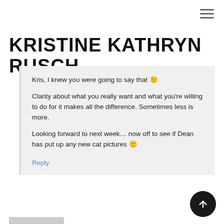≡ (hamburger menu)
KRISTINE KATHRYN RUSCH
Kris, I knew you were going to say that 🙂

Clarity about what you really want and what you're willing to do for it makes all the difference. Sometimes less is more.
Looking forward to next week… now off to see if Dean has put up any new cat pictures 🙂
Reply